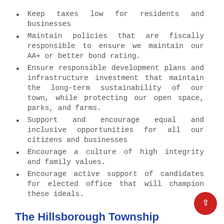Keep taxes low for residents and businesses
Maintain policies that are fiscally responsible to ensure we maintain our AA+ or better bond rating.
Ensure responsible development plans and infrastructure investment that maintain the long-term sustainability of our town, while protecting our open space, parks, and farms.
Support and encourage equal and inclusive opportunities for all our citizens and businesses
Encourage a culture of high integrity and family values.
Encourage active support of candidates for elected office that will champion these ideals.
The Hillsborough Township Republican Club
The Hillsborough Township Republican Club is a Social Club of citizens dedicated to enhancing the community's quality of life by conscientiously and respectfully engaging in local politics. The Club gathers on the 4th Monday of each month